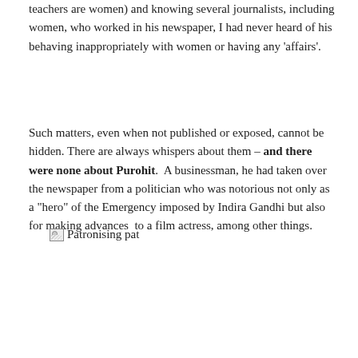teachers are women) and knowing several journalists, including women, who worked in his newspaper, I had never heard of his behaving inappropriately with women or having any 'affairs'.
Such matters, even when not published or exposed, cannot be hidden. There are always whispers about them – and there were none about Purohit.  A businessman, he had taken over the newspaper from a politician who was notorious not only as a "hero" of the Emergency imposed by Indira Gandhi but also for making advances  to a film actress, among other things.
[Figure (photo): Broken image placeholder with alt text 'Patronising pat']